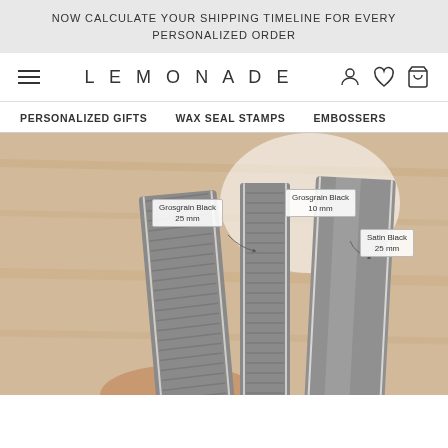NOW CALCULATE YOUR SHIPPING TIMELINE FOR EVERY PERSONALIZED ORDER
LEMONADE
PERSONALIZED GIFTS   WAX SEAL STAMPS   EMBOSSERS
[Figure (photo): Photo of three gray ribbons side by side on a wooden surface. Labels indicate: Grosgrain Black 25 mm (left), Grosgrain Black 10 mm (center), Satin Black 25 mm (right).]